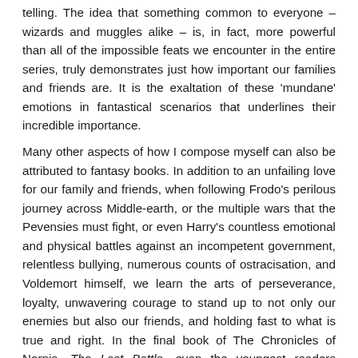telling. The idea that something common to everyone – wizards and muggles alike – is, in fact, more powerful than all of the impossible feats we encounter in the entire series, truly demonstrates just how important our families and friends are. It is the exaltation of these 'mundane' emotions in fantastical scenarios that underlines their incredible importance.
Many other aspects of how I compose myself can also be attributed to fantasy books. In addition to an unfailing love for our family and friends, when following Frodo's perilous journey across Middle-earth, or the multiple wars that the Pevensies must fight, or even Harry's countless emotional and physical battles against an incompetent government, relentless bullying, numerous counts of ostracisation, and Voldemort himself, we learn the arts of perseverance, loyalty, unwavering courage to stand up to not only our enemies but also our friends, and holding fast to what is true and right. In the final book of The Chronicles of Narnia, The Last Battle, even the youngest readers understand how the dishonesty of one and the